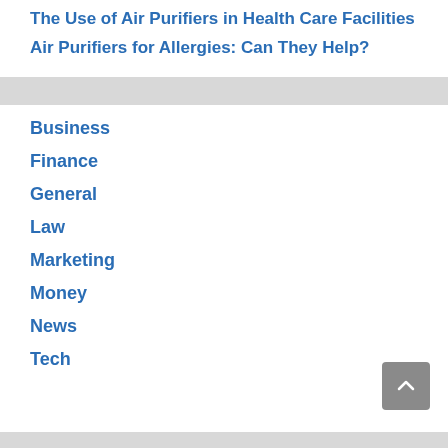The Use of Air Purifiers in Health Care Facilities
Air Purifiers for Allergies: Can They Help?
Business
Finance
General
Law
Marketing
Money
News
Tech